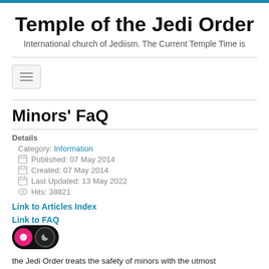Temple of the Jedi Order — International church of Jediism. The Current Temple Time is
[Figure (screenshot): Hamburger/toggle navigation button]
Minors' FaQ
Details
Category: Information
Published: 07 May 2014
Created: 07 May 2014
Last Updated: 13 May 2022
Hits: 38821
Link to Articles Index
Link to FAQ
the Jedi Order treats the safety of minors with the utmost importance and we take our responsibilities to our younger members